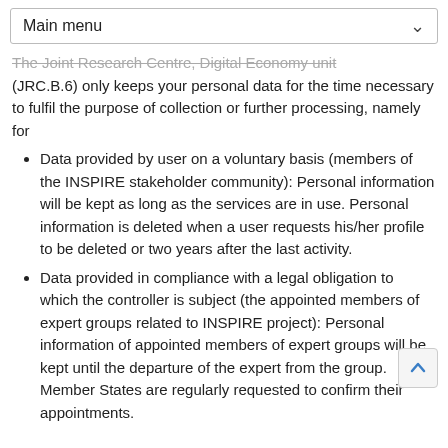Main menu
The Joint Research Centre, Digital Economy unit (JRC.B.6) only keeps your personal data for the time necessary to fulfil the purpose of collection or further processing, namely for
Data provided by user on a voluntary basis (members of the INSPIRE stakeholder community): Personal information will be kept as long as the services are in use. Personal information is deleted when a user requests his/her profile to be deleted or two years after the last activity.
Data provided in compliance with a legal obligation to which the controller is subject (the appointed members of expert groups related to INSPIRE project): Personal information of appointed members of expert groups will be kept until the departure of the expert from the group. Member States are regularly requested to confirm their appointments.